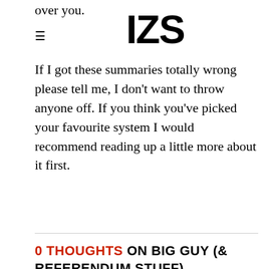IZS
over you.
If I got these summaries totally wrong please tell me, I don't want to throw anyone off. If you think you've picked your favourite system I would recommend reading up a little more about it first.
0 THOUGHTS ON BIG GUY (& REFERENDUM STUFF)
LEAVE A REPLY
Your email address will not be published. Required fields are marked *
YOUR COMMENT